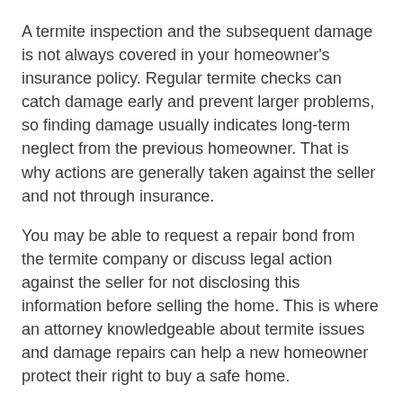A termite inspection and the subsequent damage is not always covered in your homeowner's insurance policy. Regular termite checks can catch damage early and prevent larger problems, so finding damage usually indicates long-term neglect from the previous homeowner. That is why actions are generally taken against the seller and not through insurance.
You may be able to request a repair bond from the termite company or discuss legal action against the seller for not disclosing this information before selling the home. This is where an attorney knowledgeable about termite issues and damage repairs can help a new homeowner protect their right to buy a safe home.
A termite bond can be created when you purchase the home or during a termite inspection, so you may be able to get help for the termite infestation right when you discover it.